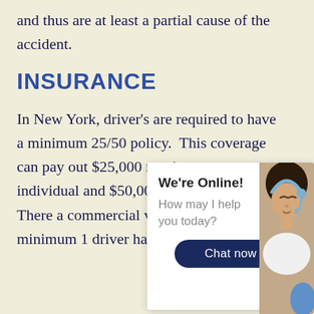and thus are at least a partial cause of the accident.
INSURANCE
In New York, driver's are required to have a minimum 25/50 policy.  This coverage can pay out $25,000 maximum to an individual and $50,000 for all accident.  There are commercial vehicle carry a minimum 1 driver has no insur
[Figure (photo): Chat widget overlay with 'We're Online!' header, 'How may I help you today?' message, a 'Chat now' button, and a photo of a female customer service agent wearing a headset.]